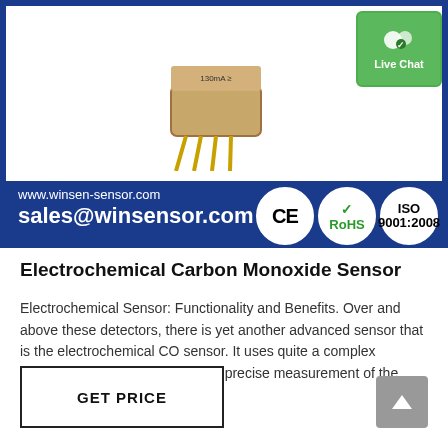[Figure (photo): Electrochemical CO sensor component with gold pins on a blue product banner showing CE, RoHS, ISO 9001:2008 certifications and contact info: www.winsen-sensor.com, sales@winsensor.com]
Electrochemical Carbon Monoxide Sensor
Electrochemical Sensor: Functionality and Benefits. Over and above these detectors, there is yet another advanced sensor that is the electrochemical CO sensor. It uses quite a complex chemical process giving a highly precise measurement of the presence of CO levels.